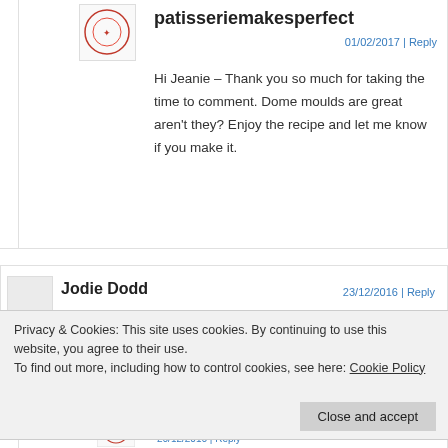patisseriemakesperfect
01/02/2017 | Reply
Hi Jeanie – Thank you so much for taking the time to comment. Dome moulds are great aren't they? Enjoy the recipe and let me know if you make it.
Jodie Dodd
23/12/2016 | Reply
Privacy & Cookies: This site uses cookies. By continuing to use this website, you agree to their use.
To find out more, including how to control cookies, see here: Cookie Policy
Close and accept
patisseriemakesperfect
26/12/2016 | Reply